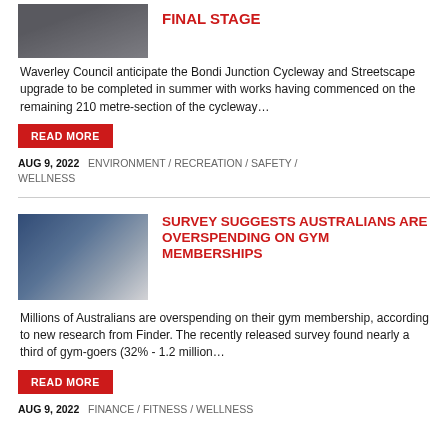[Figure (photo): Thumbnail photo of cycleway/streetscape at top left]
FINAL STAGE
Waverley Council anticipate the Bondi Junction Cycleway and Streetscape upgrade to be completed in summer with works having commenced on the remaining 210 metre-section of the cycleway…
READ MORE
AUG 9, 2022   ENVIRONMENT / RECREATION / SAFETY / WELLNESS
[Figure (photo): Thumbnail photo of people in a gym setting]
SURVEY SUGGESTS AUSTRALIANS ARE OVERSPENDING ON GYM MEMBERSHIPS
Millions of Australians are overspending on their gym membership, according to new research from Finder. The recently released survey found nearly a third of gym-goers (32% - 1.2 million…
READ MORE
AUG 9, 2022   FINANCE / FITNESS / WELLNESS